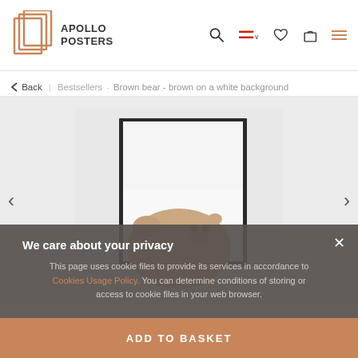[Figure (logo): Apollo Posters logo with stacked frame icon in orange/copper tones and bold text 'APOLLO POSTERS']
[Figure (infographic): Navigation bar icons: search magnifier, red horizontal lines with dropdown, heart/wishlist, shopping bag, hamburger menu]
< Back | Bestsellers - Brown bear - brown on a white background
[Figure (photo): Product photo of a framed poster showing a brown bear on a white background, partially visible in a black frame, set against a light gray background]
We care about your privacy
This page uses cookie files to provide its services in accordance to Cookies Usage Policy. You can determine conditions of storing or access to cookie files in your web browser.
ADD TO BASKET